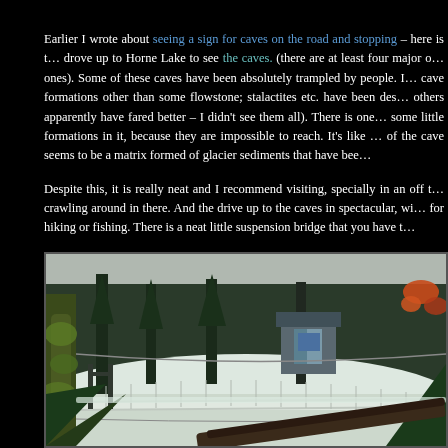Earlier I wrote about seeing a sign for caves on the road and stopping – here is t… drove up to Horne Lake to see the caves. (there are at least four major o… ones). Some of these caves have been absolutely trampled by people. I… cave formations other than some flowstone; stalactites etc. have been des… others apparently have fared better – I didn't see them all). There is one… some little formations in it, because they are impossible to reach. It's like … of the cave seems to be a matrix formed of glacier sediments that have bee…

Despite this, it is really neat and I recommend visiting, specially in an off t… crawling around in there. And the drive up to the caves in spectacular, wi… for hiking or fishing. There is a neat little suspension bridge that you have t…
[Figure (photo): A snow-covered suspension bridge in a winter forest setting, with snow-covered ground, moss-covered trees on the left, conifer trees in the foreground, a small shelter/kiosk in the background, and orange/red leaves visible on the right side.]